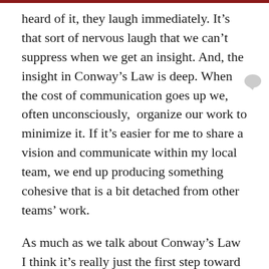heard of it, they laugh immediately. It's that sort of nervous laugh that we can't suppress when we get an insight. And, the insight in Conway's Law is deep. When the cost of communication goes up we, often unconsciously, organize our work to minimize it. If it's easier for me to share a vision and communicate within my local team, we end up producing something cohesive that is a bit detached from other teams' work.
As much as we talk about Conway's Law I think it's really just the first step toward a more broadly systems oriented way of seeing software. The way we organize